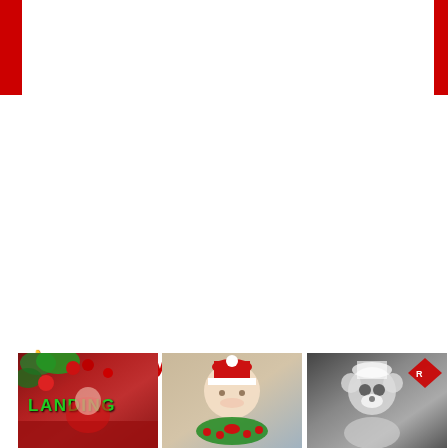[Figure (screenshot): Web page screenshot showing red bookmark tabs on top left and top right corners against white background, then 'You May Also Like' section with thumbs-up icon in red, followed by three movie poster thumbnails at the bottom]
👍 You May Also Like
[Figure (photo): Movie thumbnail showing 'LANDING' text in green over red and green festive background]
[Figure (photo): Movie thumbnail showing Santa Claus figure with Christmas wreath]
[Figure (photo): Black and white movie thumbnail with animated character and red diamond watermark overlay]